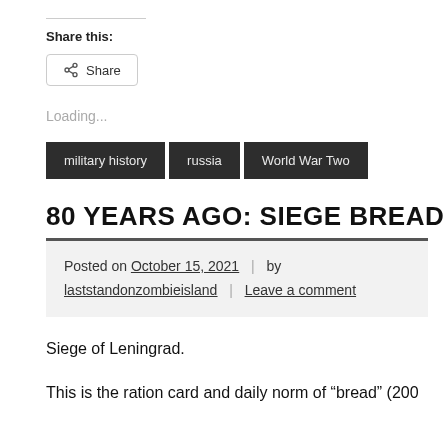Share this:
Share
Loading...
military history
russia
World War Two
80 YEARS AGO: SIEGE BREAD
Posted on October 15, 2021 | by laststandonzombieisland | Leave a comment
Siege of Leningrad.
This is the ration card and daily norm of “bread” (200